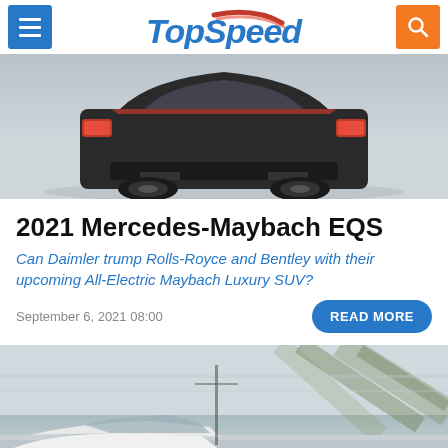TopSpeed
[Figure (photo): Rear view of a red/dark luxury SUV (Mercedes-Maybach EQS concept) on a gray studio background, only the lower portion visible]
2021 Mercedes-Maybach EQS
Can Daimler trump Rolls-Royce and Bentley with their upcoming All-Electric Maybach Luxury SUV?
September 6, 2021 08:00
READ MORE
[Figure (photo): Blurred motion photo of a white car driving on a road with trees in the background]